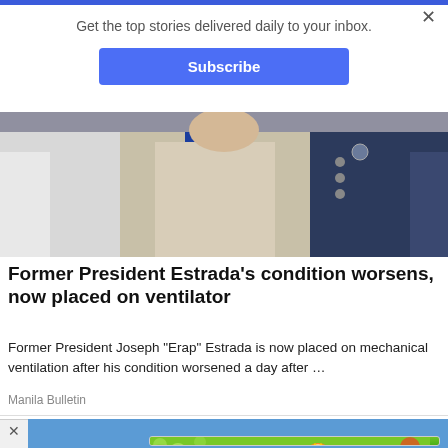Get the top stories delivered daily to your inbox.
Subscribe
[Figure (photo): Photo of former President Joseph Estrada wearing a colorful sash/lanyard, flanked by police officers in blue uniform]
Former President Estrada's condition worsens, now placed on ventilator
Former President Joseph "Erap" Estrada is now placed on mechanical ventilation after his condition worsened a day after …
Manila Bulletin
[Figure (screenshot): Game advertisement banner with 'Shoot and blast bubbles! Play Now' and 'Bubble Shooter Animal World' text on green background]